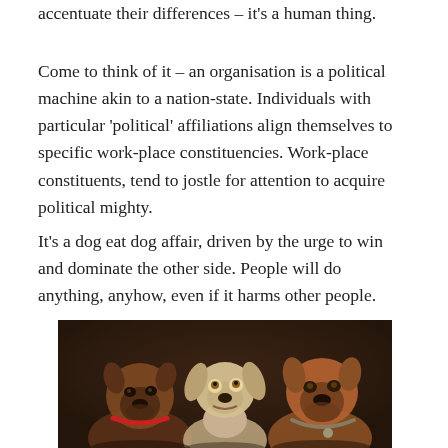accentuate their differences – it's a human thing.
Come to think of it – an organisation is a political machine akin to a nation-state. Individuals with particular 'political' affiliations align themselves to specific work-place constituencies. Work-place constituents, tend to jostle for attention to acquire political mighty.
It's a dog eat dog affair, driven by the urge to win and dominate the other side. People will do anything, anyhow, even if it harms other people.
[Figure (photo): Three dogs posed together against a dark brown background: a brindle boxer on the left with a red collar, a white/cream bulldog-type dog in the center looking upward, and a brown/tan boxer on the right with a chain collar.]